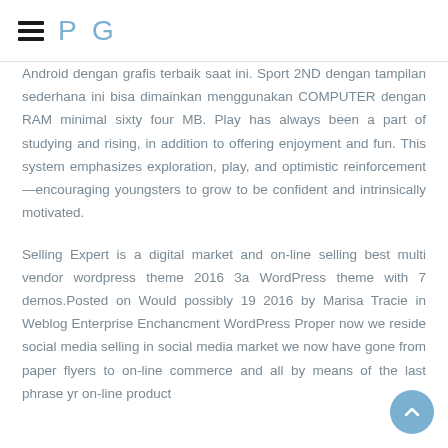PG
Android dengan grafis terbaik saat ini. Sport 2ND dengan tampilan sederhana ini bisa dimainkan menggunakan COMPUTER dengan RAM minimal sixty four MB. Play has always been a part of studying and rising, in addition to offering enjoyment and fun. This system emphasizes exploration, play, and optimistic reinforcement—encouraging youngsters to grow to be confident and intrinsically motivated.
Selling Expert is a digital market and on-line selling best multi vendor wordpress theme 2016 3a WordPress theme with 7 demos.Posted on Would possibly 19 2016 by Marisa Tracie in Weblog Enterprise Enchancment WordPress Proper now we reside social media selling in social media market we now have gone from paper flyers to on-line commerce and all by means of the last phrase yr on-line product